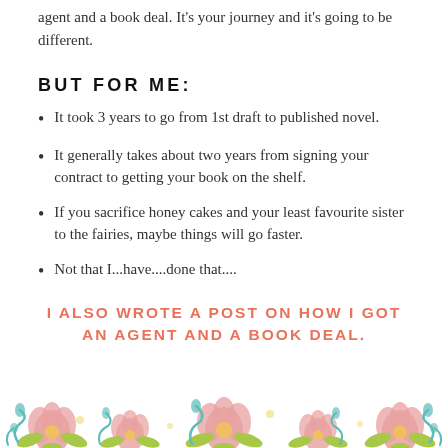agent and a book deal. It's your journey and it's going to be different.
BUT FOR ME:
It took 3 years to go from 1st draft to published novel.
It generally takes about two years from signing your contract to getting your book on the shelf.
If you sacrifice honey cakes and your least favourite sister to the fairies, maybe things will go faster.
Not that I...have....done that....
I ALSO WROTE A POST ON HOW I GOT AN AGENT AND A BOOK DEAL.
[Figure (illustration): Decorative floral border with pink, teal, and green flowers and leaves along the bottom of the page.]